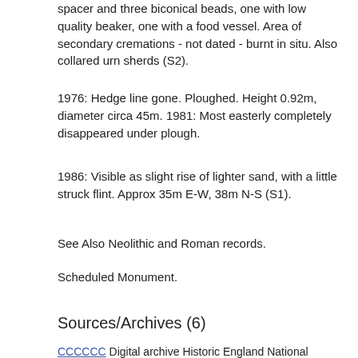spacer and three biconical beads, one with low quality beaker, one with a food vessel. Area of secondary cremations - not dated - burnt in situ. Also collared urn sherds (S2).
1976: Hedge line gone. Ploughed. Height 0.92m, diameter circa 45m. 1981: Most easterly completely disappeared under plough.
1986: Visible as slight rise of lighter sand, with a little struck flint. Approx 35m E-W, 38m N-S (S1).
See Also Neolithic and Roman records.
Scheduled Monument.
Sources/Archives (6)
Digital archive Historic England National